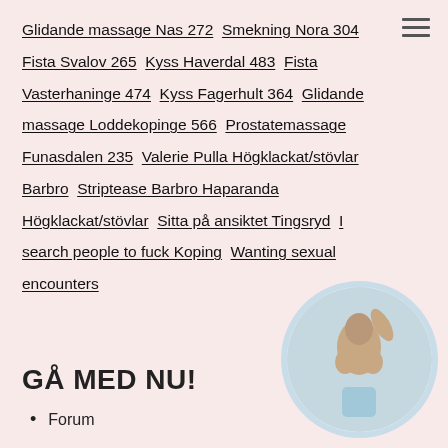Glidande massage Nas 272 Smekning Nora 304 Fista Svalov 265 Kyss Haverdal 483 Fista Vasterhaninge 474 Kyss Fagerhult 364 Glidande massage Loddekopinge 566 Prostatemassage Funasdalen 235 Valerie Pulla Högklackat/stövlar Barbro Striptease Barbro Haparanda Högklackat/stövlar Sitta på ansiktet Tingsryd I search people to fuck Koping Wanting sexual encounters
GÅ MED NU!
Forum
[Figure (photo): Circular cropped photo of a woman's torso on a light blue/grey background]